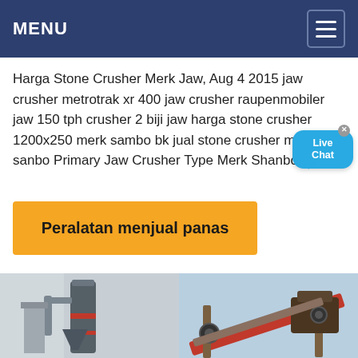MENU
Harga Stone Crusher Merk Jaw, Aug 4 2015 jaw crusher metrotrak xr 400 jaw crusher raupenmobiler jaw 150 tph crusher 2 biji jaw harga stone crusher 1200x250 merk sambo bk jual stone crusher merk sanbo Primary Jaw Crusher Type Merk Shanboo
Peralatan menjual panas
[Figure (photo): Two industrial machinery photos side by side: left shows a vertical industrial mill/crusher with pipes and conveyor; right shows a conveyor belt/screening machine against a blue sky.]